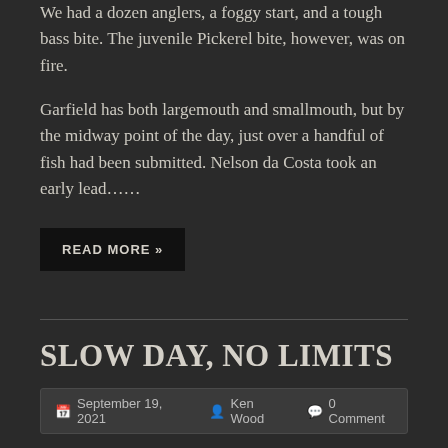We had a dozen anglers, a foggy start, and a tough bass bite. The juvenile Pickerel bite, however, was on fire.
Garfield has both largemouth and smallmouth, but by the midway point of the day, just over a handful of fish had been submitted. Nelson da Costa took an early lead……
READ MORE »
SLOW DAY, NO LIMITS
September 19, 2021  Ken Wood  0 Comment
The Eastern Division closed out its regular season yesterday at Walkers Pond and Upper/Lower Mill Ponds, three connected bodies of water in Brewster.